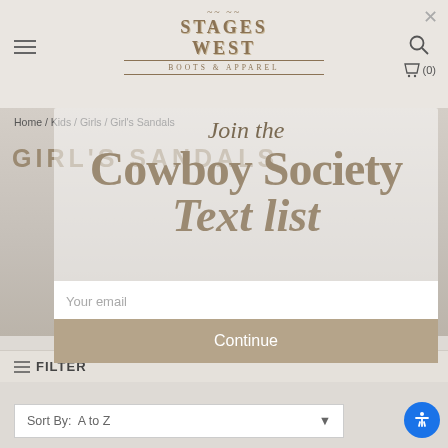[Figure (logo): Stages West Boots & Apparel logo with decorative Western typography]
Home / Kids / Girls / Girl's Sandals
GIRL'S SANDALS
[Figure (infographic): Join the Cowboy Society Text list overlay popup with email signup form]
Join the
Cowboy Society
Text list
Your email
Continue
≡ FILTER
Sort By: A to Z